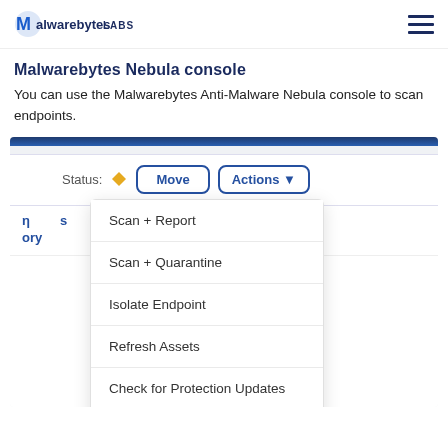Malwarebytes LABS
Malwarebytes Nebula console
You can use the Malwarebytes Anti-Malware Nebula console to scan endpoints.
[Figure (screenshot): Malwarebytes Nebula console UI screenshot showing a Status row with Move and Actions buttons, with a dropdown menu open listing: Scan + Report, Scan + Quarantine, Isolate Endpoint, Refresh Assets, Check for Protection Updates]